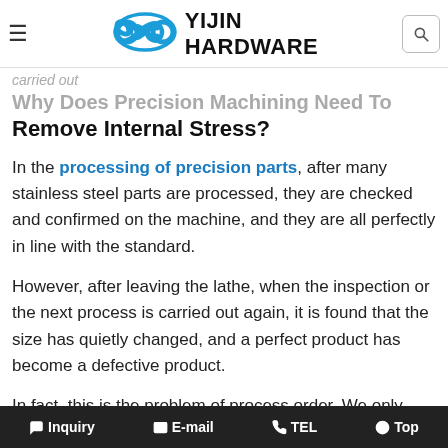Yijin Hardware — navigation bar with logo
Why Does Precision Machining Need To Remove Internal Stress?
In the processing of precision parts, after many stainless steel parts are processed, they are checked and confirmed on the machine, and they are all perfectly in line with the standard.
However, after leaving the lathe, when the inspection or the next process is carried out again, it is found that the size has quietly changed, and a perfect product has become a defective product.
In fact, this is the problem of process order. We only consider the processing technology, but fail to consider the characteristics of the material itself, resulting in changes in the internal structure of the material after the stainless
Inquiry   E-mail   TEL   Top